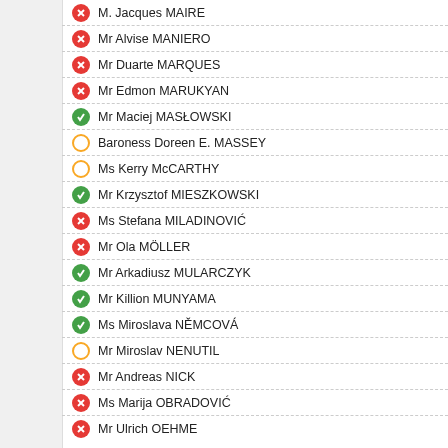M. Jacques MAIRE
Mr Alvise MANIERO
Mr Duarte MARQUES
Mr Edmon MARUKYAN
Mr Maciej MASŁOWSKI
Baroness Doreen E. MASSEY
Ms Kerry McCARTHY
Mr Krzysztof MIESZKOWSKI
Ms Stefana MILADINOVIĆ
Mr Ola MÖLLER
Mr Arkadiusz MULARCZYK
Mr Killion MUNYAMA
Ms Miroslava NĚMCOVÁ
Mr Miroslav NENUTIL
Mr Andreas NICK
Ms Marija OBRADOVIĆ
Mr Ulrich OEHME